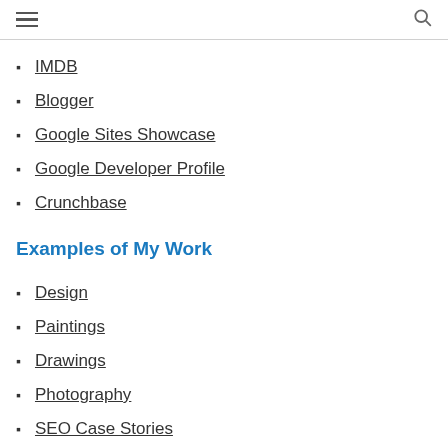☰  🔍
IMDB
Blogger
Google Sites Showcase
Google Developer Profile
Crunchbase
Examples of My Work
Design
Paintings
Drawings
Photography
SEO Case Stories